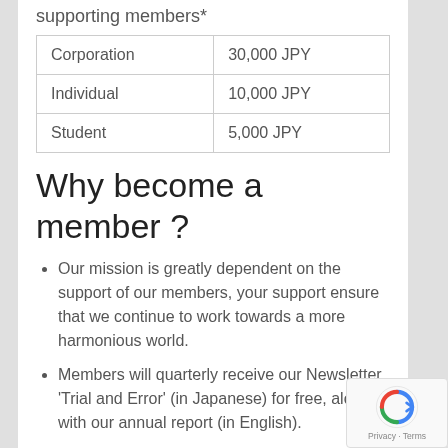supporting members*
| Corporation | 30,000 JPY |
| Individual | 10,000 JPY |
| Student | 5,000 JPY |
Why become a member ?
Our mission is greatly dependent on the support of our members, your support ensure that we continue to work towards a more harmonious world.
Members will quarterly receive our Newsletter 'Trial and Error' (in Japanese) for free, along with our annual report (in English).
Members can take part in study tours